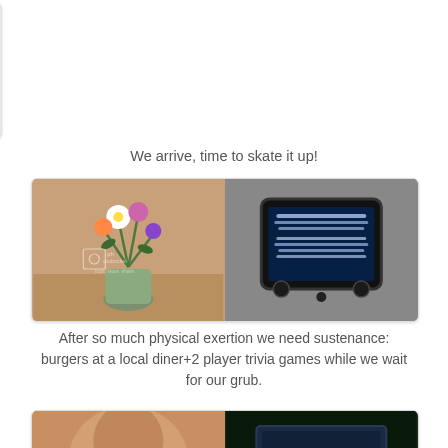[Figure (photo): Two photos side by side: left shows two people smiling together in dim lighting with a Photobucket watermark; right shows colorful disco lights on a ceiling with blue tones.]
We arrive, time to skate it up!
[Figure (photo): Two photos side by side: left shows a flower arrangement with white daisies and colorful flowers in a vase on a table with a Photobucket watermark; right shows a handheld trivia game device screen with text questions on a dark blue background.]
After so much physical exertion we need sustenance: burgers at a local diner+2 player trivia games while we wait for our grub.
[Figure (photo): Two photos side by side: left shows a person's face/head in warm lighting; right shows a dark scene with a screen or TV.]